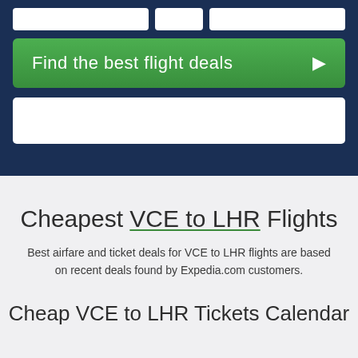[Figure (screenshot): Dark navy blue search widget with a green 'Find the best flight deals' button with arrow, and a white input box below it. Part of a flight booking search interface.]
Cheapest VCE to LHR Flights
Best airfare and ticket deals for VCE to LHR flights are based on recent deals found by Expedia.com customers.
Cheap VCE to LHR Tickets Calendar